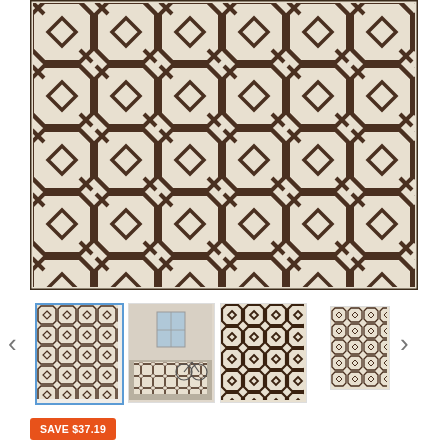[Figure (photo): Large main product image of a beige/cream area rug with a geometric brown lattice/hexagon pattern covering the full rug surface.]
[Figure (photo): Thumbnail 1 (selected, blue border): close-up of the rug showing the geometric pattern clearly.]
[Figure (photo): Thumbnail 2: lifestyle photo of the rug in a room setting with a bicycle visible.]
[Figure (photo): Thumbnail 3: angled close-up of the rug pattern.]
[Figure (photo): Thumbnail 4 (far right, smaller): portrait orientation view of the full rug.]
SAVE $37.19